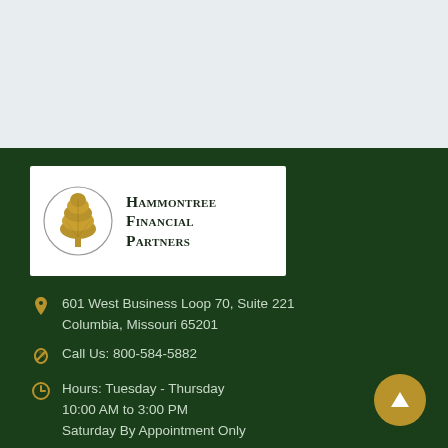[Figure (logo): Hammontree Financial Partners logo: golden tree inside a circle with company name in serif small-caps text]
601 West Business Loop 70, Suite 221
Columbia, Missouri 65201
Call Us: 800-584-5882
Hours: Tuesday - Thursday
10:00 AM to 3:00 PM
Saturday By Appointment Only